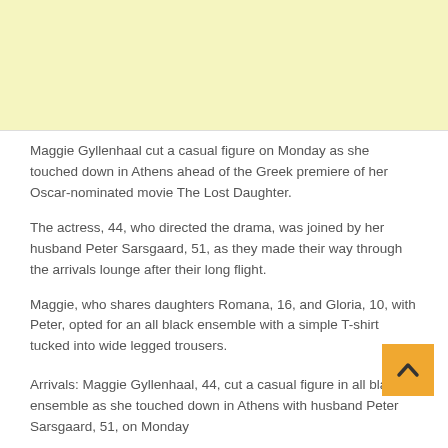[Figure (other): Yellow advertisement banner at the top of the page]
Maggie Gyllenhaal cut a casual figure on Monday as she touched down in Athens ahead of the Greek premiere of her Oscar-nominated movie The Lost Daughter.
The actress, 44, who directed the drama, was joined by her husband Peter Sarsgaard, 51, as they made their way through the arrivals lounge after their long flight.
Maggie, who shares daughters Romana, 16, and Gloria, 10, with Peter, opted for an all black ensemble with a simple T-shirt tucked into wide legged trousers.
Arrivals: Maggie Gyllenhaal, 44, cut a casual figure in all black ensemble as she touched down in Athens with husband Peter Sarsgaard, 51, on Monday
The Secretary actress shielded her eyes behind sunglasses